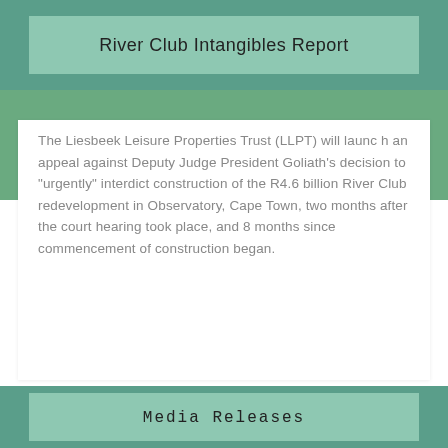River Club Intangibles Report
The Liesbeek Leisure Properties Trust (LLPT) will launch an appeal against Deputy Judge President Goliath’s decision to “urgently” interdict construction of the R4.6 billion River Club redevelopment in Observatory, Cape Town, two months after the court hearing took place, and 8 months since commencement of construction began.
Media Releases